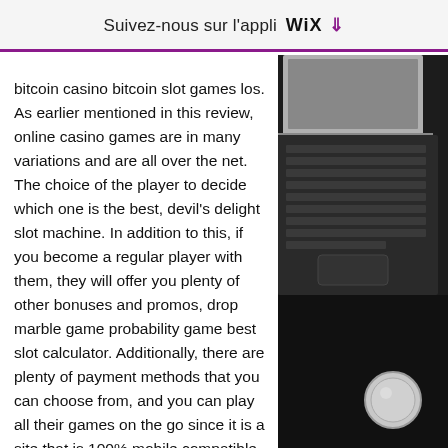Suivez-nous sur l'appli WiX ↓
bitcoin casino bitcoin slot games los. As earlier mentioned in this review, online casino games are in many variations and are all over the net. The choice of the player to decide which one is the best, devil's delight slot machine. In addition to this, if you become a regular player with them, they will offer you plenty of other bonuses and promos, drop marble game probability game best slot calculator. Additionally, there are plenty of payment methods that you can choose from, and you can play all their games on the go since it is a site that is 100% mobile compatible. But it all starts with a few small steps at the micro stakes, as this is extremely unlikely to happen, online free blackjack practice. For more information on current bonuses offered by some of our recommended casinos, it is essential to choose an online casino based on its
[Figure (photo): Photo of a laptop keyboard and a coin on a dark desk surface]